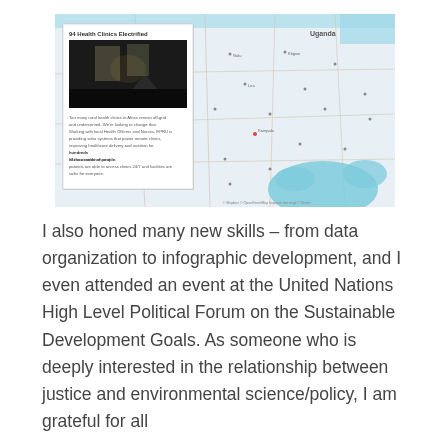[Figure (map): Interactive map of Uganda with a popup card showing '94 Health Clinics Electrified' with a dark photo of a clinic interior and descriptive text about solar power systems for remote clinics in Africa. The map shows roads, region names, and Lake Victoria in the lower right.]
I also honed many new skills – from data organization to infographic development, and I even attended an event at the United Nations High Level Political Forum on the Sustainable Development Goals. As someone who is deeply interested in the relationship between justice and environmental science/policy, I am grateful for all